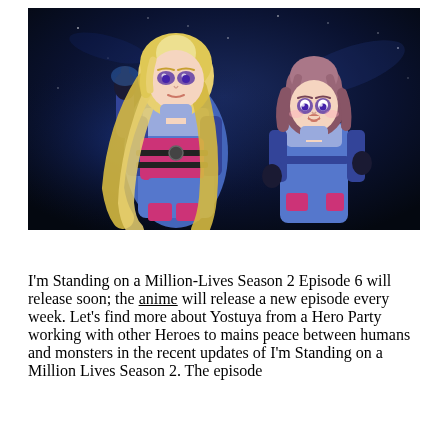[Figure (illustration): Anime screenshot showing two female characters in blue and magenta combat suits against a dark space background. The taller character on the left has long blonde hair and is pointing upward, while the shorter character on the right has short reddish-brown hair and looks surprised.]
I'm Standing on a Million-Lives Season 2 Episode 6 will release soon; the anime will release a new episode every week. Let's find more about Yostuya from a Hero Party working with other Heroes to mains peace between humans and monsters in the recent updates of I'm Standing on a Million Lives Season 2. The episode